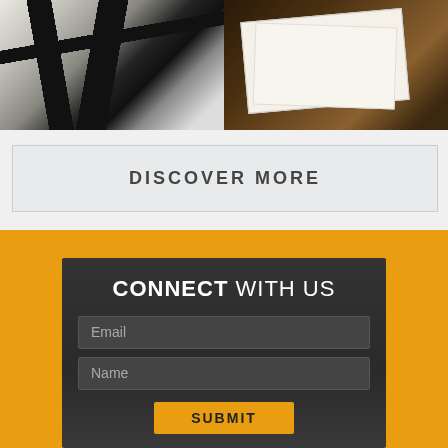[Figure (photo): Two photos side by side: left shows abstract black brush strokes on light background; right shows papers/documents on a dark surface]
DISCOVER MORE
[Figure (screenshot): Connect With Us form section with dark card on orange background, containing Email field, Name field, and Submit button]
CONNECT WITH US
Email
Name
SUBMIT